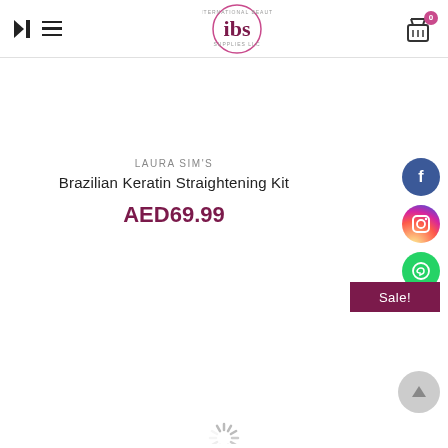IBS International Beauty Supplies LLC - navigation header with logo and cart
LAURA SIM'S
Brazilian Keratin Straightening Kit
AED69.99
[Figure (other): Sale! badge button in dark red/maroon color]
[Figure (other): Loading spinner / radial lines indicator at bottom center of page]